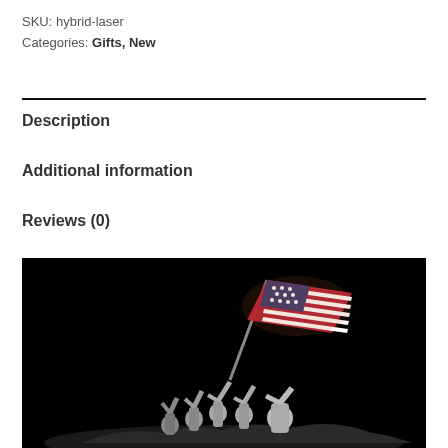SKU: hybrid-laser
Categories: Gifts, New
Description
Additional information
Reviews (0)
[Figure (photo): Black and white photo of the Iwo Jima memorial statue — soldiers raising an American flag with a colorized US flag against a black background]